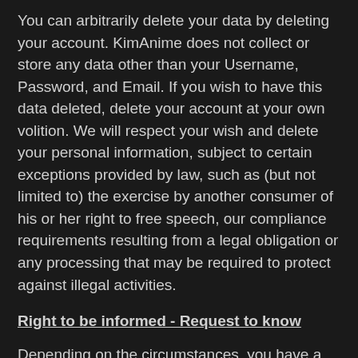You can arbitrarily delete your data by deleting your account. KimAnime does not collect or store any data other than your Username, Password, and Email. If you wish to have this data deleted, delete your account at your own volition. We will respect your wish and delete your personal information, subject to certain exceptions provided by law, such as (but not limited to) the exercise by another consumer of his or her right to free speech, our compliance requirements resulting from a legal obligation or any processing that may be required to protect against illegal activities.
Right to be informed - Request to know
Depending on the circumstances, you have a right to know:
whether we collect and use your personal information;